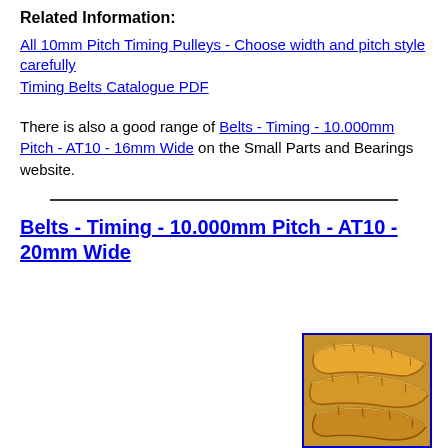Related Information:
All 10mm Pitch Timing Pulleys - Choose width and pitch style carefully
Timing Belts Catalogue PDF
There is also a good range of Belts - Timing - 10.000mm Pitch - AT10 - 16mm Wide on the Small Parts and Bearings website.
Belts - Timing - 10.000mm Pitch - AT10 - 20mm Wide
[Figure (photo): Photo of orange/brown timing belts coiled and overlapping, shown inside a blue-bordered box]